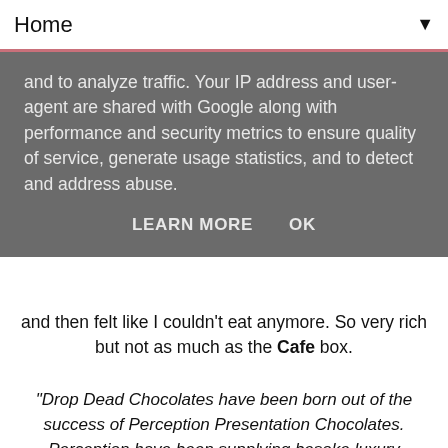Home ▼
and to analyze traffic. Your IP address and user-agent are shared with Google along with performance and security metrics to ensure quality of service, generate usage statistics, and to detect and address abuse.

LEARN MORE   OK
and then felt like I couldn't eat anymore. So very rich but not as much as the Cafe box.
"Drop Dead Chocolates have been born out of the success of Perception Presentation Chocolates. Perception have been supplying besoke luxury chocolates and confectionery to the country's leading hotels and restaurants for over 20 years.We have used this wealth of experience to produce a range of luxury chocolates for the retail market.We are not tied to one chocolate supplier and have used our extensive experience to select a range of wonderful chocolates from the world's leading manufacturers. Whilst many of the leading manufacturers are still